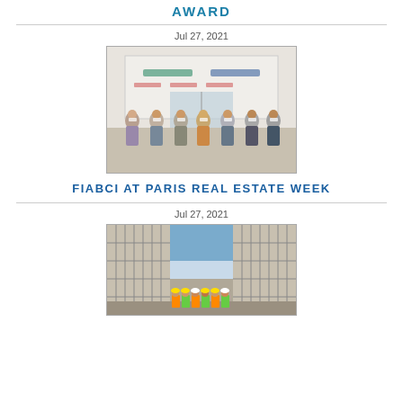AWARD
Jul 27, 2021
[Figure (photo): Group of people standing in front of a banner backdrop at an award event, all wearing face masks]
FIABCI AT PARIS REAL ESTATE WEEK
Jul 27, 2021
[Figure (photo): Group of people in high-visibility vests standing at a construction site between tall scaffolded buildings]